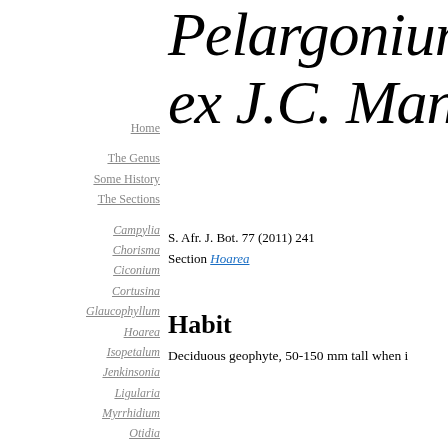Pelargonium ela ex J.C. Manning
S. Afr. J. Bot. 77 (2011) 241
Section Hoarea
Habit
Deciduous geophyte, 50-150 mm tall when i
Home
The Genus
Some History
The Sections
Campylia
Chorisma
Ciconium
Cortusina
Glaucophyllum
Hoarea
Isopetalum
Jenkinsonia
Ligularia
Myrrhidium
Otidia
Pelargonium
Peristera
Polyactium
Reniformia